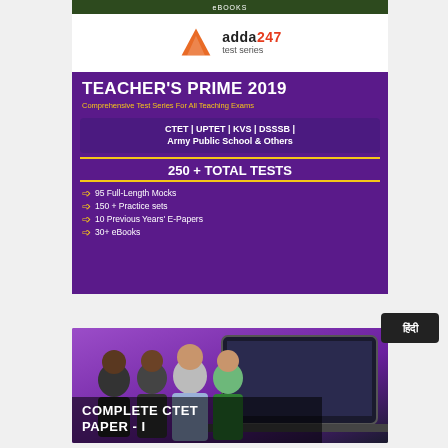eBOOKS
[Figure (logo): Adda247 test series logo with orange triangle icon]
[Figure (infographic): Teacher's Prime 2019 advertisement. Comprehensive Test Series For All Teaching Exams. CTET | UPTET | KVS | DSSSB | Army Public School & Others. 250 + TOTAL TESTS. 95 Full-Length Mocks, 150 + Practice sets, 10 Previous Years E-Papers, 30+ eBooks.]
[Figure (screenshot): Hindi badge label showing हिंदी in white on dark background]
[Figure (photo): Complete CTET Paper - I promotional image showing four teachers/educators in front of a laptop screen on purple background]